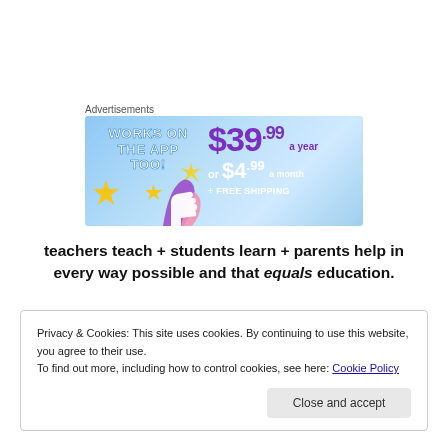Advertisements
[Figure (illustration): Advertisement banner showing 'WORKS ON THE APP TOO!' on the left with stars and a graphic figure, and pricing '$39.99 a year or $4.99 a month + FREE SHIPPING' on the right on a blue background.]
teachers teach + students learn + parents help in every way possible and that equals education.
Privacy & Cookies: This site uses cookies. By continuing to use this website, you agree to their use.
To find out more, including how to control cookies, see here: Cookie Policy
Close and accept